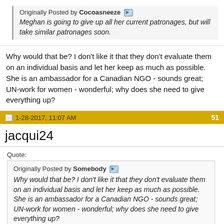Originally Posted by Cocoasneeze
Meghan is going to give up all her current patronages, but will take similar patronages soon.
Why would that be? I don't like it that they don't evaluate them on an individual basis and let her keep as much as possible. She is an ambassador for a Canadian NGO - sounds great; UN-work for women - wonderful; why does she need to give everything up?
1-28-2017, 11:07 AM  51
jacqui24
Quote:
Originally Posted by Somebody
Why would that be? I don't like it that they don't evaluate them on an individual basis and let her keep as much as possible. She is an ambassador for a Canadian NGO - sounds great; UN-work for women - wonderful; why does she need to give everything up?
It'll likely be more UK focused as she is getting to know her new country.